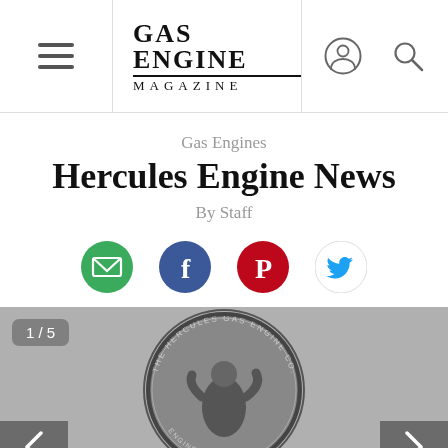Gas Engine Magazine — navigation header with hamburger menu, logo, user icon, search icon
Gas Engines
Hercules Engine News
By Staff
[Figure (infographic): Row of four social sharing icons: email (green circle), Facebook (blue circle), Pinterest (red circle), Twitter (blue bird)]
[Figure (photo): Black and white photograph of a Hercules Gas Engine Co. emblem/seal showing a muscular figure (Hercules), image counter overlay showing 1/5, with left and right navigation arrows at the bottom]